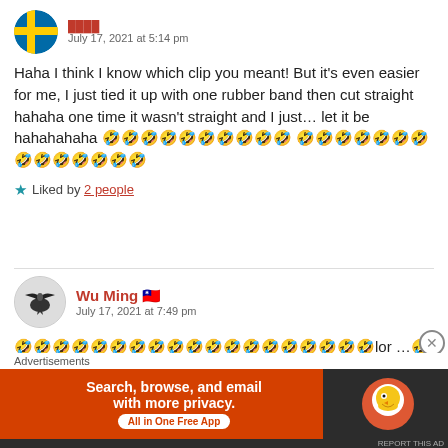[Figure (illustration): Swedish flag circular avatar]
July 17, 2021 at 5:14 pm
Haha I think I know which clip you meant! But it's even easier for me, I just tied it up with one rubber band then cut straight hahaha one time it wasn't straight and I just... let it be hahahahaha 🤣🤣🤣🤣🤣🤣🤣🤣🤣🤣 🤣🤣🤣🤣🤣🤣🤣🤣🤣🤣🤣🤣🤣🤣
★ Liked by 2 people
[Figure (illustration): Bird (frigatebird) circular avatar for Wu Ming]
Wu Ming 🇹🇼
July 17, 2021 at 7:49 pm
🤣🤣🤣🤣🤣🤣🤣🤣🤣🤣🤣🤣🤣🤣🤣🤣🤣🤣🤣lor ...🤣🤣🤣🤣
Advertisements
[Figure (screenshot): DuckDuckGo advertisement banner: Search, browse, and email with more privacy. All in One Free App.]